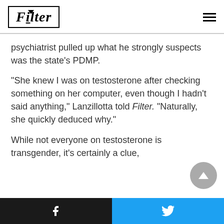Filter
psychiatrist pulled up what he strongly suspects was the state’s PDMP.
“She knew I was on testosterone after checking something on her computer, even though I hadn’t said anything,” Lanzillotta told Filter. “Naturally, she quickly deduced why.”
While not everyone on testosterone is transgender, it’s certainly a clue,
Facebook | Twitter